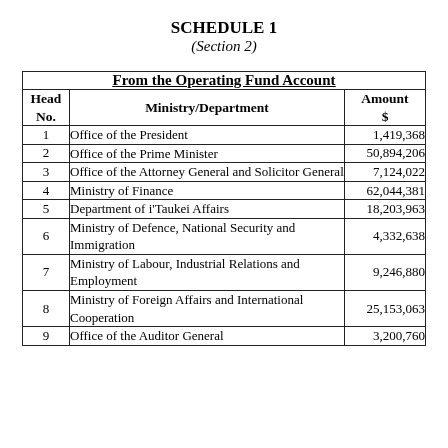SCHEDULE 1
(Section 2)
| Head No. | Ministry/Department | Amount $ |
| --- | --- | --- |
| 1 | Office of the President | 1,419,368 |
| 2 | Office of the Prime Minister | 50,894,206 |
| 3 | Office of the Attorney General and Solicitor General | 7,124,022 |
| 4 | Ministry of Finance | 62,044,381 |
| 5 | Department of i'Taukei Affairs | 18,203,963 |
| 6 | Ministry of Defence, National Security and Immigration | 4,332,638 |
| 7 | Ministry of Labour, Industrial Relations and Employment | 9,246,880 |
| 8 | Ministry of Foreign Affairs and International Cooperation | 25,153,063 |
| 9 | Office of the Auditor General | 3,200,760 |